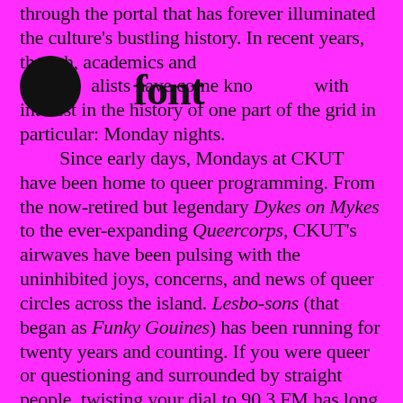through the portal that has forever illuminated the culture's bustling history. In recent years, though, academics and journalists have come knocking with interest in the history of one part of the grid in particular: Monday nights. Since early days, Mondays at CKUT have been home to queer programming. From the now-retired but legendary Dykes on Mykes to the ever-expanding Queercorps, CKUT's airwaves have been pulsing with the uninhibited joys, concerns, and news of queer circles across the island. Lesbo-sons (that began as Funky Gouines) has been running for twenty years and counting. If you were queer or questioning and surrounded by straight people, twisting your dial to 90.3 FM has long opened up a new world. In 2006, Marie-Claire MacPhee and Mél Hogan captured just how foundational shows like Dykes on Mykes in particular were in "The Importance of Community-Based Media for Building and Sustaining Lesbian Subcultures: The Role of Montreal's Dykes on Mykes Radio"
[Figure (other): Black filled circle (bullet/marker) overlaid on text]